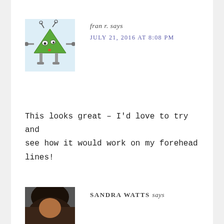[Figure (illustration): Cartoon green alien/robot character with triangular body, antenna, and mechanical legs on a light blue background]
fran r. says
JULY 21, 2016 AT 8:08 PM
This looks great – I'd love to try and see how it would work on my forehead lines!
[Figure (photo): Partial photo of a person with dark hair, mostly cropped]
SANDRA WATTS says